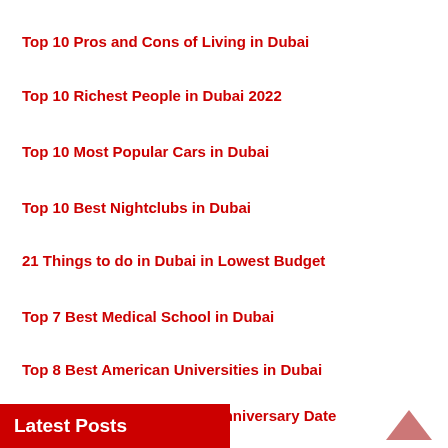Top 10 Pros and Cons of Living in Dubai
Top 10 Richest People in Dubai 2022
Top 10 Most Popular Cars in Dubai
Top 10 Best Nightclubs in Dubai
21 Things to do in Dubai in Lowest Budget
Top 7 Best Medical School in Dubai
Top 8 Best American Universities in Dubai
5 Most Romantic Wedding Anniversary Date Ideas in Dubai
Latest Posts